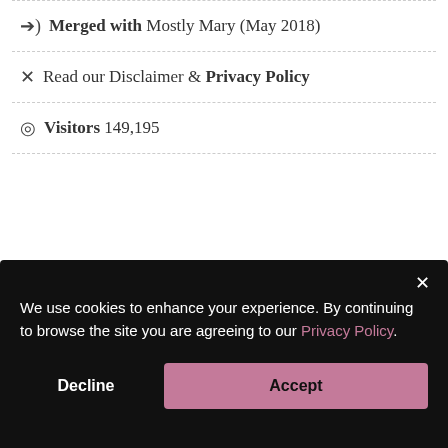➔) Merged with Mostly Mary (May 2018)
✕ Read our Disclaimer & Privacy Policy
◎ Visitors 149,195
[Figure (screenshot): Partially visible gray background content area with blurred text]
We use cookies to enhance your experience. By continuing to browse the site you are agreeing to our Privacy Policy.
Decline   Accept